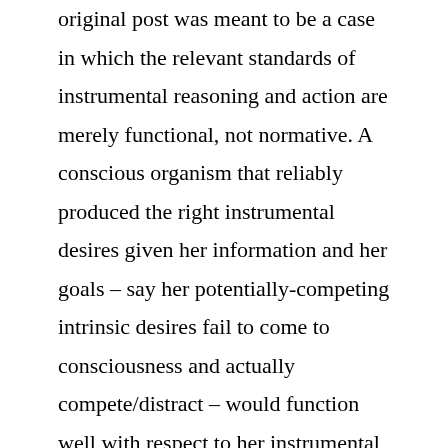original post was meant to be a case in which the relevant standards of instrumental reasoning and action are merely functional, not normative. A conscious organism that reliably produced the right instrumental desires given her information and her goals – say her potentially-competing intrinsic desires fail to come to consciousness and actually compete/distract – would function well with respect to her instrumental reasoning and action, but would not have normative reason to adhere to these standards in her